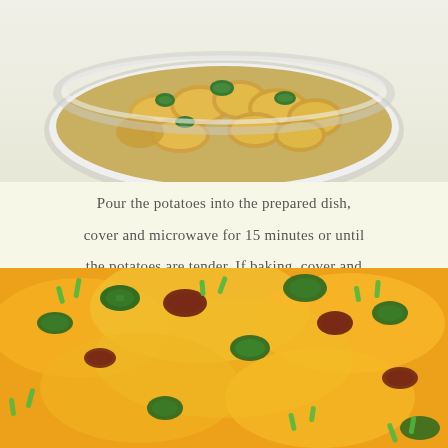[Figure (photo): A white ceramic baking dish filled with sliced potatoes and green jalapeño slices, seasoned and ready to cook.]
Pour the potatoes into the prepared dish, cover and microwave for 15 minutes or until the potatoes are tender. If baking, cover and bake in a preheated 350° oven for 50-60 minutes or until potatoes are cooked through.
[Figure (photo): A close-up of the finished baked potato dish topped with melted orange cheddar cheese, green jalapeño slices, bacon pieces, and chopped green onions.]